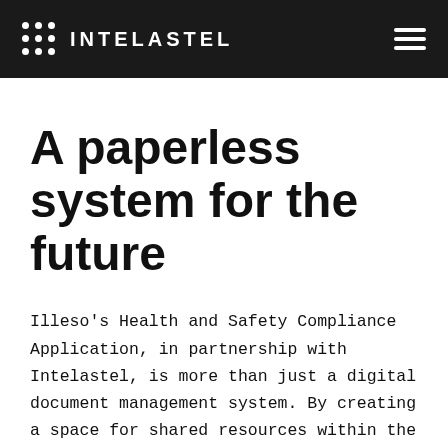INTELASTEL
A paperless system for the future
Illeso's Health and Safety Compliance Application, in partnership with Intelastel, is more than just a digital document management system. By creating a space for shared resources within the industry, giving operatives a voice around health and safety procedures, and empowering teams to locate documentation independently, it's designed to enable massive safety and efficiency gains